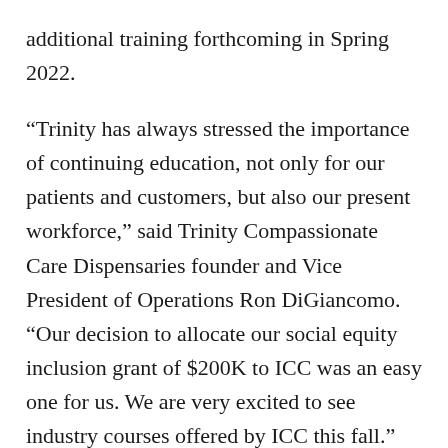additional training forthcoming in Spring 2022.
“Trinity has always stressed the importance of continuing education, not only for our patients and customers, but also our present workforce,” said Trinity Compassionate Care Dispensaries founder and Vice President of Operations Ron DiGiancomo. “Our decision to allocate our social equity inclusion grant of $200K to ICC was an easy one for us. We are very excited to see industry courses offered by ICC this fall.”
Trinity Compassionate Care aims to provide the highest quality care in a professional, safe, and educated environment. Their approach to patient service ensures individuals receive treatment and care tailored